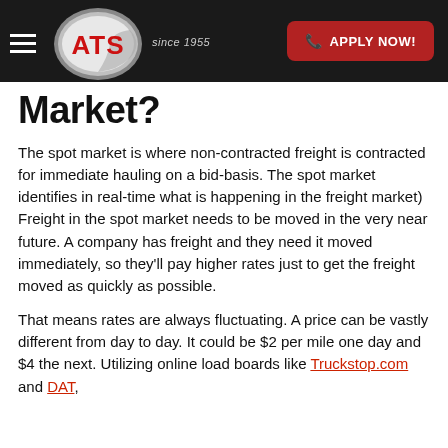ATS since 1955 | APPLY NOW!
Market?
The spot market is where non-contracted freight is contracted for immediate hauling on a bid-basis. The spot market identifies in real-time what is happening in the freight market) Freight in the spot market needs to be moved in the very near future. A company has freight and they need it moved immediately, so they'll pay higher rates just to get the freight moved as quickly as possible.
That means rates are always fluctuating. A price can be vastly different from day to day. It could be $2 per mile one day and $4 the next. Utilizing online load boards like Truckstop.com and DAT,